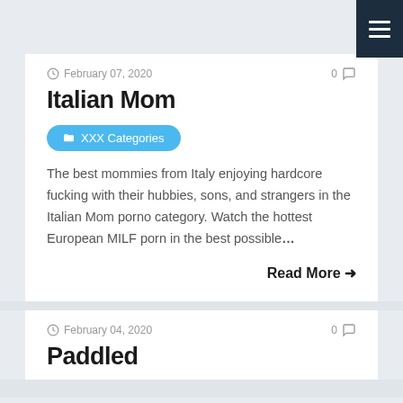February 07, 2020
Italian Mom
XXX Categories
The best mommies from Italy enjoying hardcore fucking with their hubbies, sons, and strangers in the Italian Mom porno category. Watch the hottest European MILF porn in the best possible…
Read More →
February 04, 2020
Paddled